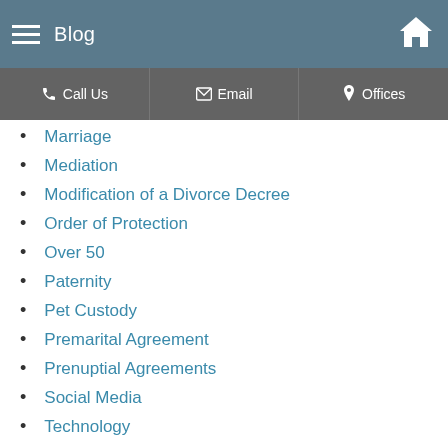Blog
Marriage
Mediation
Modification of a Divorce Decree
Order of Protection
Over 50
Paternity
Pet Custody
Premarital Agreement
Prenuptial Agreements
Social Media
Technology
Testing Cat
Uncategorized